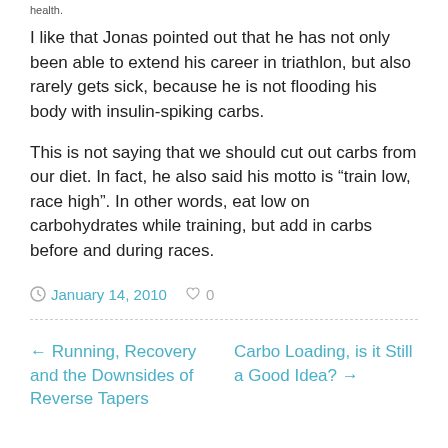health.
I like that Jonas pointed out that he has not only been able to extend his career in triathlon, but also rarely gets sick, because he is not flooding his body with insulin-spiking carbs.
This is not saying that we should cut out carbs from our diet. In fact, he also said his motto is “train low, race high”. In other words, eat low on carbohydrates while training, but add in carbs before and during races.
January 14, 2010   ♥ 0
← Running, Recovery and the Downsides of Reverse Tapers   Carbo Loading, is it Still a Good Idea? →